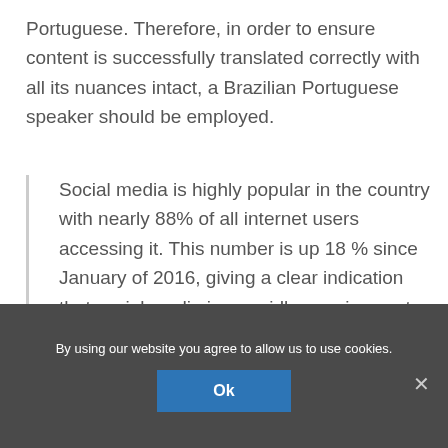Portuguese. Therefore, in order to ensure content is successfully translated correctly with all its nuances intact, a Brazilian Portuguese speaker should be employed.
Social media is highly popular in the country with nearly 88% of all internet users accessing it. This number is up 18 % since January of 2016, giving a clear indication that social media is a rapidly-growing sector in Brazil.
By using our website you agree to allow us to use cookies.